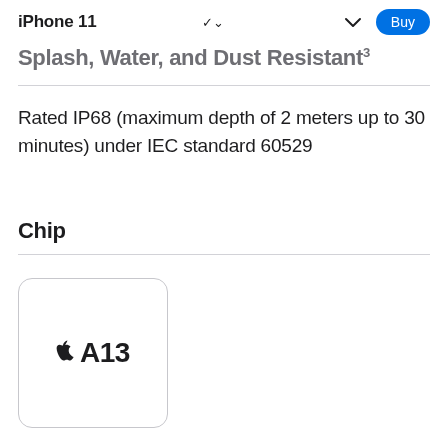iPhone 11
Splash, Water, and Dust Resistant³
Rated IP68 (maximum depth of 2 meters up to 30 minutes) under IEC standard 60529
Chip
[Figure (illustration): Apple A13 chip logo inside a rounded square border]